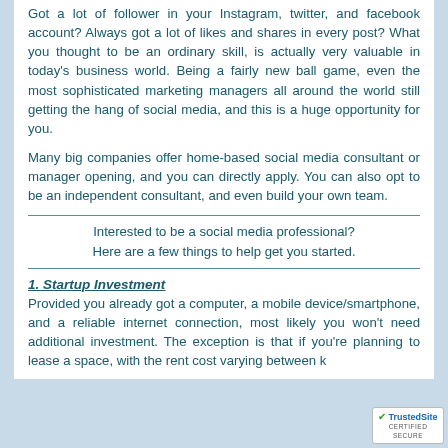Got a lot of follower in your Instagram, twitter, and facebook account? Always got a lot of likes and shares in every post? What you thought to be an ordinary skill, is actually very valuable in today's business world. Being a fairly new ball game, even the most sophisticated marketing managers all around the world still getting the hang of social media, and this is a huge opportunity for you.
Many big companies offer home-based social media consultant or manager opening, and you can directly apply. You can also opt to be an independent consultant, and even build your own team.
Interested to be a social media professional? Here are a few things to help get you started.
1. Startup Investment
Provided you already got a computer, a mobile device/smartphone, and a reliable internet connection, most likely you won't need additional investment. The exception is that if you're planning to lease a space, with the rent cost varying between k...